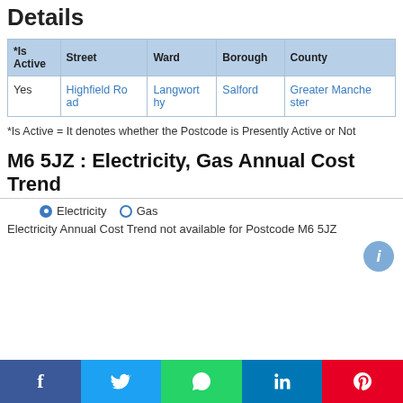Details
| *Is Active | Street | Ward | Borough | County |
| --- | --- | --- | --- | --- |
| Yes | Highfield Road | Langworthy | Salford | Greater Manchester |
*Is Active = It denotes whether the Postcode is Presently Active or Not
M6 5JZ : Electricity, Gas Annual Cost Trend
Electricity   Gas
Electricity Annual Cost Trend not available for Postcode M6 5JZ
f  t  [whatsapp]  in  [pinterest]